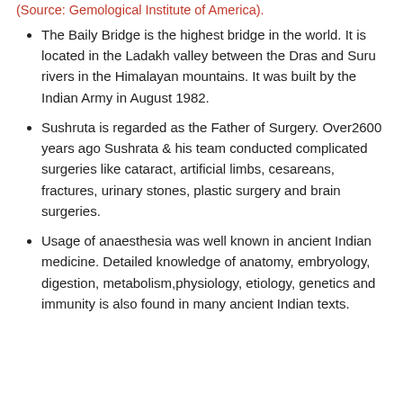(Source: Gemological Institute of America).
The Baily Bridge is the highest bridge in the world. It is located in the Ladakh valley between the Dras and Suru rivers in the Himalayan mountains. It was built by the Indian Army in August 1982.
Sushruta is regarded as the Father of Surgery. Over2600 years ago Sushrata & his team conducted complicated surgeries like cataract, artificial limbs, cesareans, fractures, urinary stones, plastic surgery and brain surgeries.
Usage of anaesthesia was well known in ancient Indian medicine. Detailed knowledge of anatomy, embryology, digestion, metabolism,physiology, etiology, genetics and immunity is also found in many ancient Indian texts.